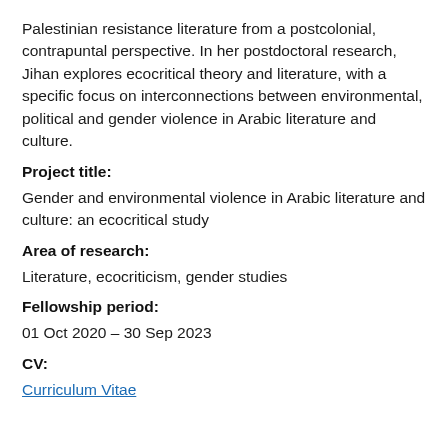Palestinian resistance literature from a postcolonial, contrapuntal perspective. In her postdoctoral research, Jihan explores ecocritical theory and literature, with a specific focus on interconnections between environmental, political and gender violence in Arabic literature and culture.
Project title:
Gender and environmental violence in Arabic literature and culture: an ecocritical study
Area of research:
Literature, ecocriticism, gender studies
Fellowship period:
01 Oct 2020 – 30 Sep 2023
CV:
Curriculum Vitae